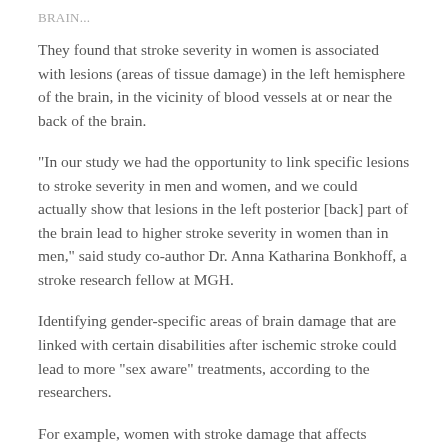BRAIN...
They found that stroke severity in women is associated with lesions (areas of tissue damage) in the left hemisphere of the brain, in the vicinity of blood vessels at or near the back of the brain.
"In our study we had the opportunity to link specific lesions to stroke severity in men and women, and we could actually show that lesions in the left posterior [back] part of the brain lead to higher stroke severity in women than in men," said study co-author Dr. Anna Katharina Bonkhoff, a stroke research fellow at MGH.
Identifying gender-specific areas of brain damage that are linked with certain disabilities after ischemic stroke could lead to more "sex aware" treatments, according to the researchers.
For example, women with stroke damage that affects